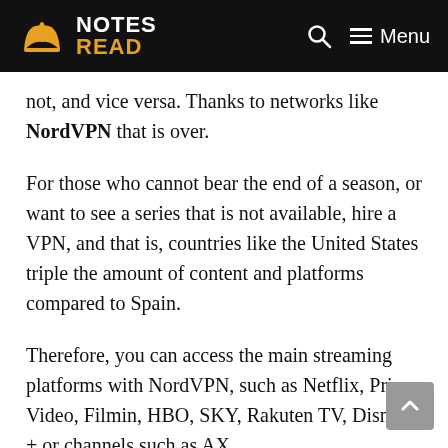NOTES READ
not, and vice versa. Thanks to networks like NordVPN that is over.
For those who cannot bear the end of a season, or want to see a series that is not available, hire a VPN, and that is, countries like the United States triple the amount of content and platforms compared to Spain.
Therefore, you can access the main streaming platforms with NordVPN, such as Netflix, Prime Video, Filmin, HBO, SKY, Rakuten TV, Disney + or channels such as AX